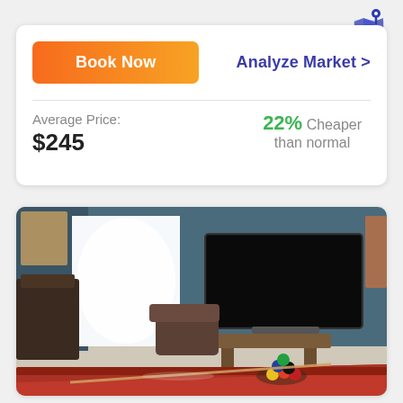[Figure (logo): Map/location pin icon in dark blue]
Book Now
Analyze Market >
Average Price:
$245
22% Cheaper than normal
[Figure (photo): Indoor room with blue walls, wall-mounted flat screen TV, wooden console table, brown leather chair/ottoman, and a red pool table with billiard balls in the foreground]